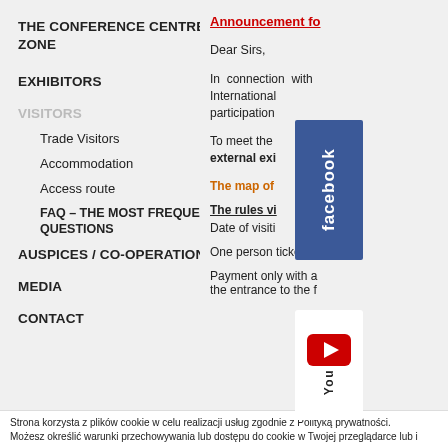THE CONFERENCE CENTRE AND VIP ZONE
EXHIBITORS
VISITORS
Trade Visitors
Accommodation
Access route
FAQ – THE MOST FREQUENTLY ASKED QUESTIONS
AUSPICES / CO-OPERATION
MEDIA
CONTACT
Announcement fo
Dear Sirs,
In connection with International participation
To meet the external exhibitors
The map of
The rules vi
Date of visiti
One person ticket –
Payment only with a the entrance to the f
Strona korzysta z plików cookie w celu realizacji usług zgodnie z Polityką prywatności.
Możesz określić warunki przechowywania lub dostępu do cookie w Twojej przeglądarce lub i